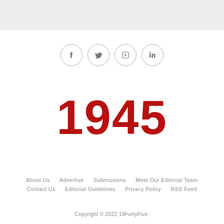[Figure (other): Gray header bar at top of page]
[Figure (other): Social media icon circles: Facebook, Twitter, Flipboard, LinkedIn]
1945
About Us  Advertise  Submissions  Meet Our Editorial Team  Contact Us  Editorial Guidelines  Privacy Policy  RSS Feed
Copyright © 2022 19FortyFive.